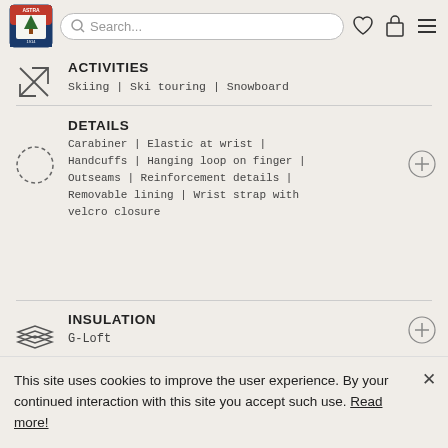Search...
ACTIVITIES
Skiing | Ski touring | Snowboard
DETAILS
Carabiner | Elastic at wrist | Handcuffs | Hanging loop on finger | Outseams | Reinforcement details | Removable lining | Wrist strap with velcro closure
INSULATION
G-Loft
This site uses cookies to improve the user experience. By your continued interaction with this site you accept such use. Read more!